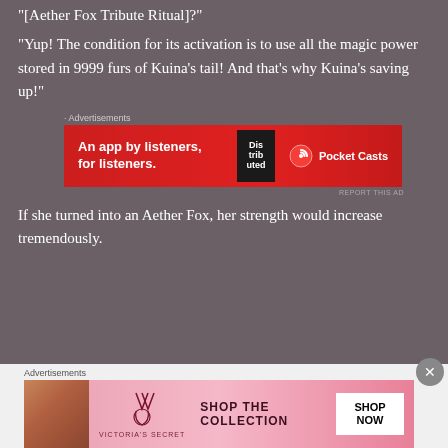“[Aether Fox Tribute Ritual]?”
“Yup! The condition for its activation is to use all the magic power stored in 9999 furs of Kuina’s tail! And that’s why Kuina’s saving up!”
[Figure (other): Pocket Casts advertisement banner: red background with text 'An app by listeners, for listeners.' and Pocket Casts logo with podcast app graphic]
If she turned into an Aether Fox, her strength would increase tremendously.
[Figure (other): Victoria's Secret advertisement banner: pink background with model, Victoria's Secret logo, 'SHOP THE COLLECTION' text and 'SHOP NOW' button]